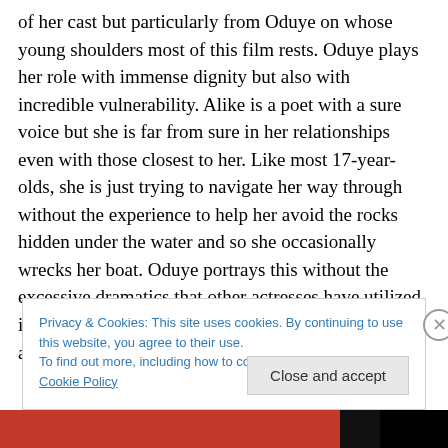of her cast but particularly from Oduye on whose young shoulders most of this film rests. Oduye plays her role with immense dignity but also with incredible vulnerability. Alike is a poet with a sure voice but she is far from sure in her relationships even with those closest to her. Like most 17-year-olds, she is just trying to navigate her way through without the experience to help her avoid the rocks hidden under the water and so she occasionally wrecks her boat. Oduye portrays this without the excessive dramatics that other actresses have utilized in similar roles; to my mind she plays it more like an actual 17-year-old. Sure, there
Privacy & Cookies: This site uses cookies. By continuing to use this website, you agree to their use.
To find out more, including how to control cookies, see here: Cookie Policy